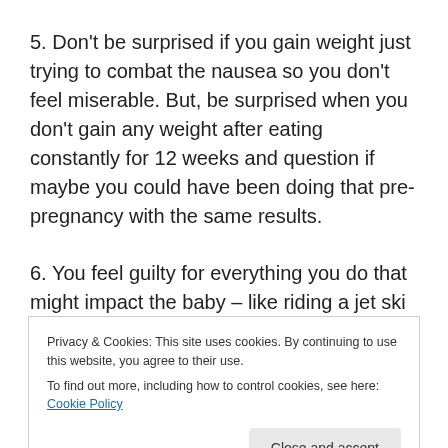5. Don't be surprised if you gain weight just trying to combat the nausea so you don't feel miserable. But, be surprised when you don't gain any weight after eating constantly for 12 weeks and question if maybe you could have been doing that pre-pregnancy with the same results.
6. You feel guilty for everything you do that might impact the baby – like riding a jet ski in the ocean or using massive amount of fingernail polish remover in an
Privacy & Cookies: This site uses cookies. By continuing to use this website, you agree to their use.
To find out more, including how to control cookies, see here: Cookie Policy
suffer from insomnia instead. Or either, depending on the